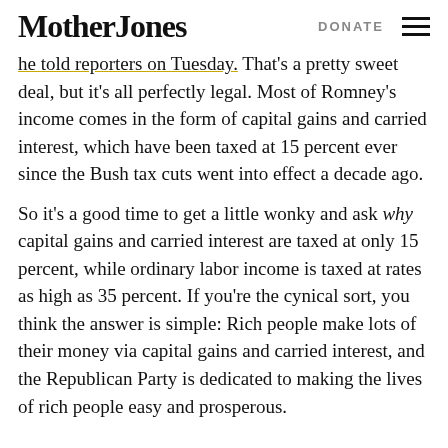Mother Jones | DONATE
he told reporters on Tuesday. That's a pretty sweet deal, but it's all perfectly legal. Most of Romney's income comes in the form of capital gains and carried interest, which have been taxed at 15 percent ever since the Bush tax cuts went into effect a decade ago.
So it's a good time to get a little wonky and ask why capital gains and carried interest are taxed at only 15 percent, while ordinary labor income is taxed at rates as high as 35 percent. If you're the cynical sort, you think the answer is simple: Rich people make lots of their money via capital gains and carried interest, and the Republican Party is dedicated to making the lives of rich people easy and prosperous.